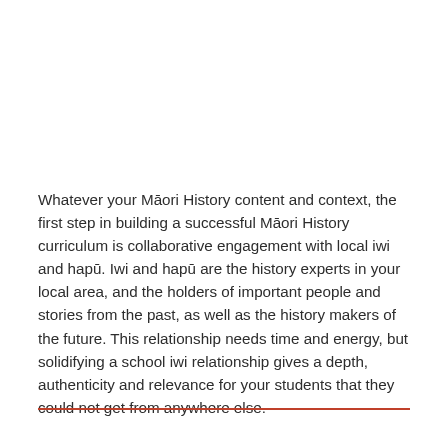Whatever your Māori History content and context, the first step in building a successful Māori History curriculum is collaborative engagement with local iwi and hapū. Iwi and hapū are the history experts in your local area, and the holders of important people and stories from the past, as well as the history makers of the future. This relationship needs time and energy, but solidifying a school iwi relationship gives a depth, authenticity and relevance for your students that they could not get from anywhere else.